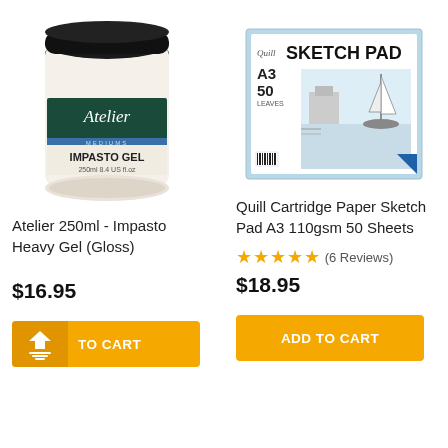[Figure (photo): Atelier 250ml Impasto Gel jar with black lid, white body, dark green label with script Atelier logo, MEDIUMS and IMPASTO GEL text]
Atelier 250ml - Impasto Heavy Gel (Gloss)
$16.95
[Figure (photo): Quill brand Sketch Pad A3 50 Leaves, white cover with illustration of a harbor/sailboat scene]
Quill Cartridge Paper Sketch Pad A3 110gsm 50 Sheets
★★★★★ (6 Reviews)
$18.95